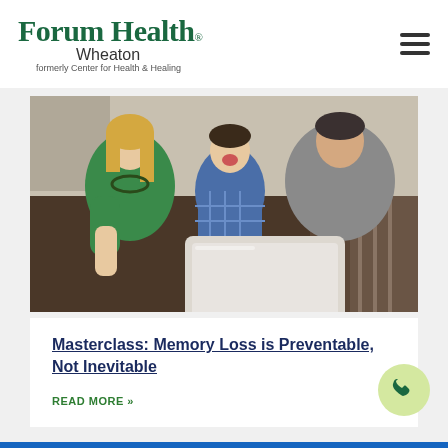[Figure (logo): Forum Health Wheaton logo - green serif text with subtitle 'formerly Center for Health & Healing']
[Figure (photo): Family of three sitting on a couch looking at a tablet together - woman in green top, child in blue plaid, man in grey]
Masterclass: Memory Loss is Preventable, Not Inevitable
READ MORE »